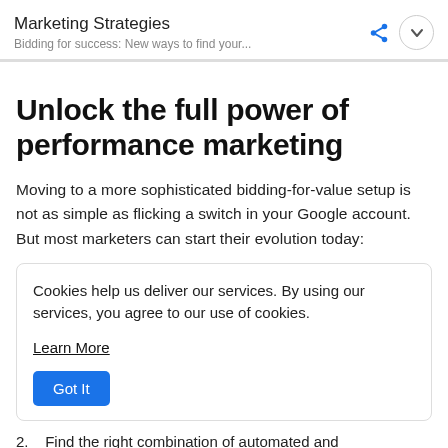Marketing Strategies
Bidding for success: New ways to find your...
Unlock the full power of performance marketing
Moving to a more sophisticated bidding-for-value setup is not as simple as flicking a switch in your Google account. But most marketers can start their evolution today:
Cookies help us deliver our services. By using our services, you agree to our use of cookies.

Learn More

Got It
2.   Find the right combination of automated and